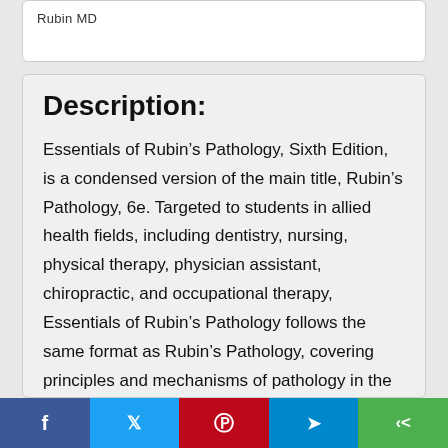Rubin MD
Description:
Essentials of Rubin’s Pathology, Sixth Edition, is a condensed version of the main title, Rubin’s Pathology, 6e. Targeted to students in allied health fields, including dentistry, nursing, physical therapy, physician assistant, chiropractic, and occupational therapy, Essentials of Rubin’s Pathology follows the same format as Rubin’s Pathology, covering principles and mechanisms of pathology in the first section and organ-specific